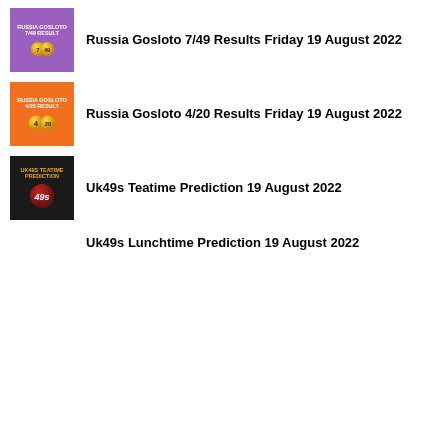Russia Gosloto 7/49 Results Friday 19 August 2022
Russia Gosloto 4/20 Results Friday 19 August 2022
Uk49s Teatime Prediction 19 August 2022
Uk49s Lunchtime Prediction 19 August 2022